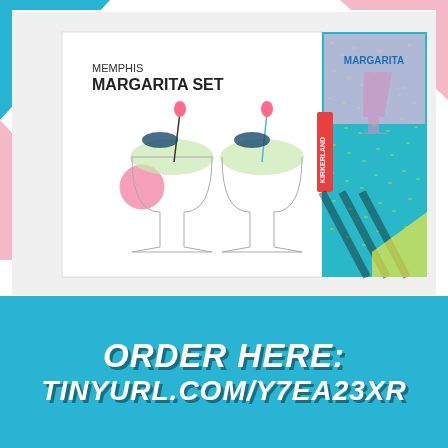[Figure (photo): Photo of Memphis Margarita Set product box by Kikkerland, showing two margarita glasses filled with frozen green margaritas, decorated with flamingo picks and patterned cocktail umbrellas. The colorful Memphis-style box has teal geometric patterns with a pink margarita glass graphic on the side panel. The box text reads 'MEMPHIS MARGARITA SET' and 'KIRKERLAND'.]
ORDER HERE:
TINYURL.COM/Y7EA23XR